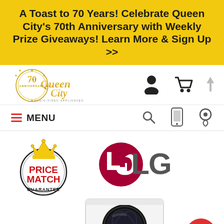A Toast to 70 Years! Celebrate Queen City's 70th Anniversary with Weekly Prize Giveaways! Learn More & Sign Up >>
[Figure (logo): Queen City Audio-Video-Appliances 70th Anniversary logo]
[Figure (illustration): User account icon (person silhouette)]
[Figure (illustration): Shopping cart icon]
[Figure (illustration): Hamburger menu icon with MENU text in red]
[Figure (illustration): Search magnifying glass icon]
[Figure (illustration): Mobile phone icon]
[Figure (illustration): Location pin icon]
[Figure (logo): Price Match Guarantee badge with crown]
[Figure (logo): LG brand logo]
[Figure (photo): LG front-load washer/dryer appliance product image]
[Figure (illustration): Red chat bubble button]